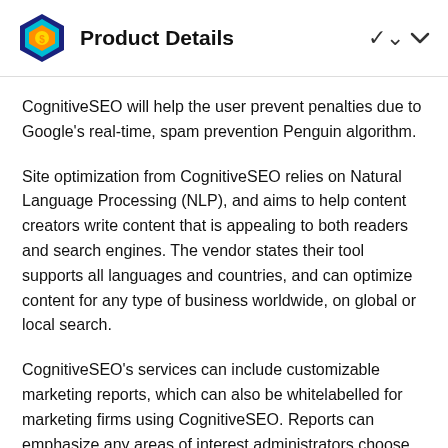Product Details
CognitiveSEO will help the user prevent penalties due to Google's real-time, spam prevention Penguin algorithm.
Site optimization from CognitiveSEO relies on Natural Language Processing (NLP), and aims to help content creators write content that is appealing to both readers and search engines. The vendor states their tool supports all languages and countries, and can optimize content for any type of business worldwide, on global or local search.
CognitiveSEO's services can include customizable marketing reports, which can also be whitelabelled for marketing firms using CognitiveSEO. Reports can emphasize any areas of interest administrators choose, such as link analysis, social visibility, or rank tracking. Its